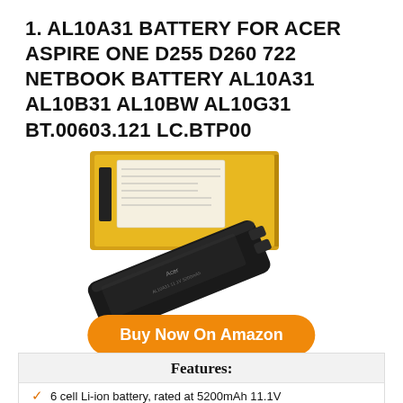1. AL10A31 BATTERY FOR ACER ASPIRE ONE D255 D260 722 NETBOOK BATTERY AL10A31 AL10B31 AL10BW AL10G31 BT.00603.121 LC.BTP00
[Figure (photo): Product photo of a black laptop battery (AL10A31) with gold/yellow retail packaging box behind it]
Buy Now On Amazon
Features:
6 cell Li-ion battery, rated at 5200mAh 11.1V
New Battery for Acer Acer Aspire One D255 D260